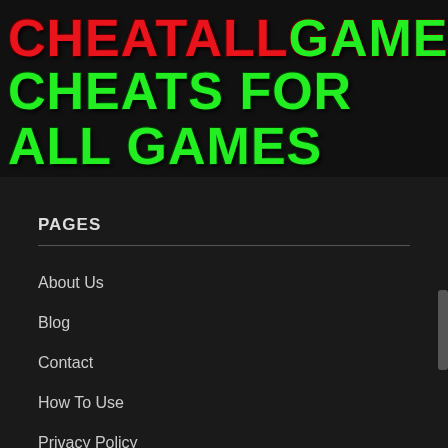CHEATALLGAME.COM
CHEATS FOR ALL GAMES
PAGES
About Us
Blog
Contact
How To Use
Privacy Policy